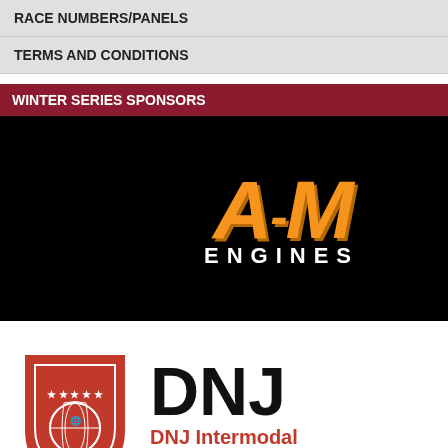RACE NUMBERS/PANELS
TERMS AND CONDITIONS
WINTER SERIES SPONSORS
[Figure (logo): A-M Engines logo: large orange italic bold A-M text on black background with ENGINES in white below]
[Figure (logo): DNJ Intermodal Services logo: red shield on left with globe, large DNJ text in black, red subtitle DNJ Intermodal Services]
SEARCH
Search by Keyword...
[Figure (photo): Green grass/turf photo at top of right column]
The SKUSA Florida Winter Series
Having officially announced the f confirm the venues and class str Miami Motorplex and will cap at G weekends, with Saturday and Su categories, in addition to a local c
“It’s really exciting for all of us at Kutscher, Superkarts! USA CEO. the reigns over to Bill Wright, so t We’re pleased to be able to work I’m certain that the series will be customers with the opportunity to
Read more...